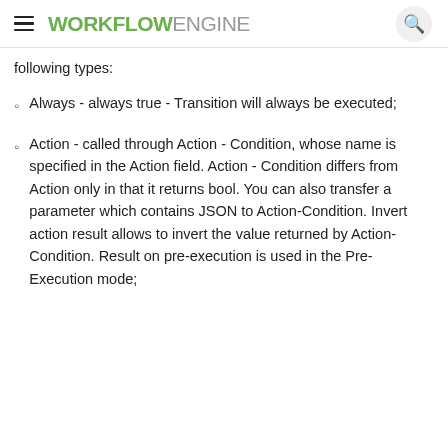WORKFLOWENGINE
following types:
Always - always true - Transition will always be executed;
Action - called through Action - Condition, whose name is specified in the Action field. Action - Condition differs from Action only in that it returns bool. You can also transfer a parameter which contains JSON to Action-Condition. Invert action result allows to invert the value returned by Action-Condition. Result on pre-execution is used in the Pre-Execution mode;